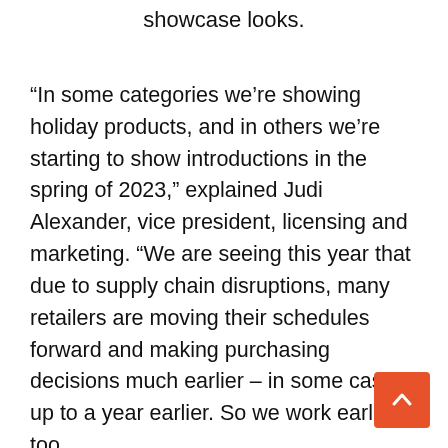showcase looks.
“In some categories we’re showing holiday products, and in others we’re starting to show introductions in the spring of 2023,” explained Judi Alexander, vice president, licensing and marketing. “We are seeing this year that due to supply chain disruptions, many retailers are moving their schedules forward and making purchasing decisions much earlier – in some cases up to a year earlier. So we work earlier too.
The company’s “big story” in this market is sustainability, she noted, through a newly signed licensed partnership with womenswear brand Sanctuary. The collection includes rugs and